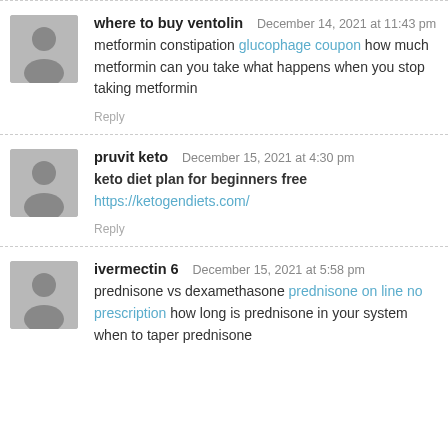where to buy ventolin  December 14, 2021 at 11:43 pm
metformin constipation glucophage coupon how much metformin can you take what happens when you stop taking metformin
Reply
pruvit keto  December 15, 2021 at 4:30 pm
keto diet plan for beginners free
https://ketogendiets.com/
Reply
ivermectin 6  December 15, 2021 at 5:58 pm
prednisone vs dexamethasone prednisone on line no prescription how long is prednisone in your system when to taper prednisone